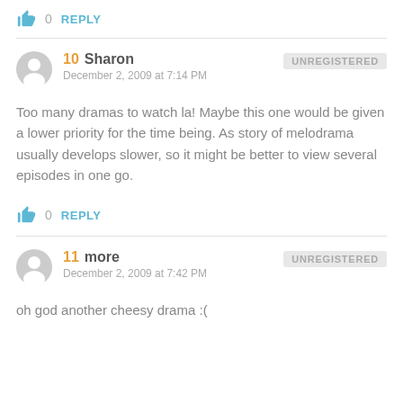👍 0  REPLY
10  Sharon  UNREGISTERED
December 2, 2009 at 7:14 PM
Too many dramas to watch la! Maybe this one would be given a lower priority for the time being. As story of melodrama usually develops slower, so it might be better to view several episodes in one go.
👍 0  REPLY
11  more  UNREGISTERED
December 2, 2009 at 7:42 PM
oh god another cheesy drama :(